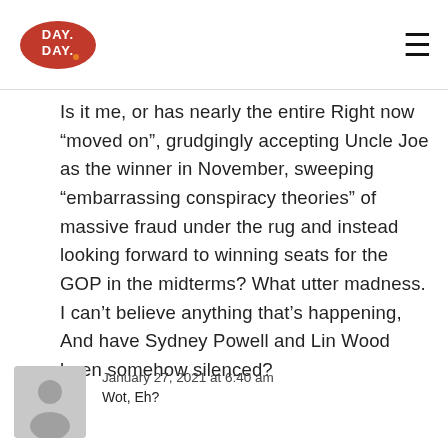DAY DAY [logo] [hamburger menu]
Is it me, or has nearly the entire Right now “moved on”, grudgingly accepting Uncle Joe as the winner in November, sweeping “embarrassing conspiracy theories” of massive fraud under the rug and instead looking forward to winning seats for the GOP in the midterms? What utter madness. I can’t believe anything that’s happening, And have Sydney Powell and Lin Wood been somehow silenced?
January 27, 2021 at 6:40 am
Wot, Eh?